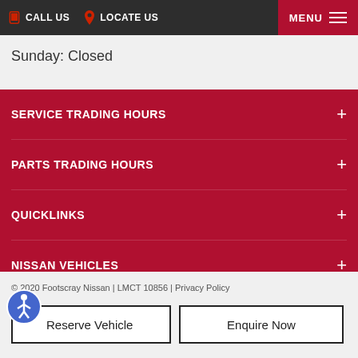CALL US  LOCATE US  MENU
Sunday: Closed
SERVICE TRADING HOURS
PARTS TRADING HOURS
QUICKLINKS
NISSAN VEHICLES
© 2020 Footscray Nissan | LMCT 10856 | Privacy Policy
Reserve Vehicle
Enquire Now